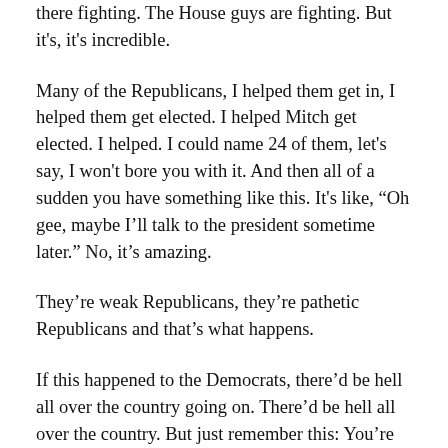there fighting. The House guys are fighting. But it's, it's incredible.
Many of the Republicans, I helped them get in, I helped them get elected. I helped Mitch get elected. I helped. I could name 24 of them, let's say, I won't bore you with it. And then all of a sudden you have something like this. It's like, “Oh gee, maybe I’ll talk to the president sometime later.” No, it’s amazing.
They’re weak Republicans, they’re pathetic Republicans and that’s what happens.
If this happened to the Democrats, there’d be hell all over the country going on. There’d be hell all over the country. But just remember this: You’re stronger, you’re smarter, you’ve got more going than anybody. And they try and demean everybody having to do with us. And you’re the real people, you’re the people that built this nation. You’re